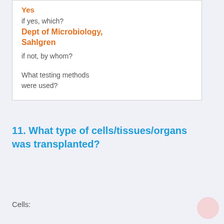Yes
if yes, which?
Dept of Microbiology, Sahlgren
if not, by whom?
What testing methods were used?
11. What type of cells/tissues/organs was transplanted?
Cells: